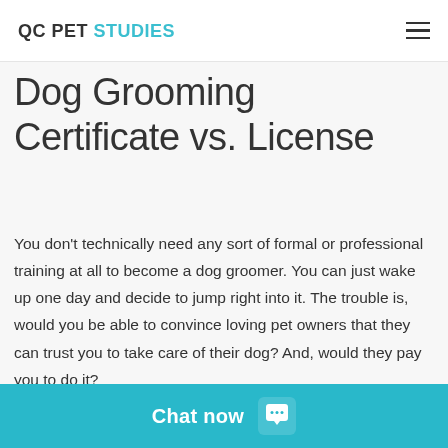QC PET STUDIES
Dog Grooming Certificate vs. License
You don't technically need any sort of formal or professional training at all to become a dog groomer. You can just wake up one day and decide to jump right into it. The trouble is, would you be able to convince loving pet owners that they can trust you to take care of their dog? And, would they pay you to do it?
Your best bet, whether you apprentice or take a course, is to join an association and take a certification exam…